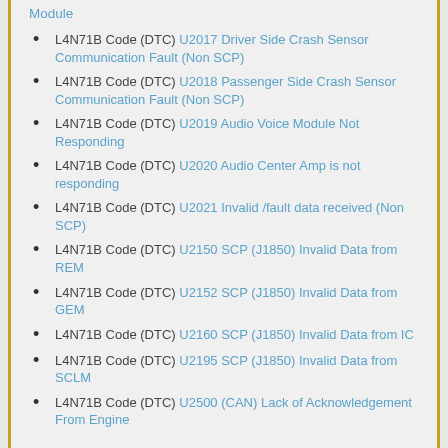Module
L4N71B Code (DTC) U2017 Driver Side Crash Sensor Communication Fault (Non SCP)
L4N71B Code (DTC) U2018 Passenger Side Crash Sensor Communication Fault (Non SCP)
L4N71B Code (DTC) U2019 Audio Voice Module Not Responding
L4N71B Code (DTC) U2020 Audio Center Amp is not responding
L4N71B Code (DTC) U2021 Invalid /fault data received (Non SCP)
L4N71B Code (DTC) U2150 SCP (J1850) Invalid Data from REM
L4N71B Code (DTC) U2152 SCP (J1850) Invalid Data from GEM
L4N71B Code (DTC) U2160 SCP (J1850) Invalid Data from IC
L4N71B Code (DTC) U2195 SCP (J1850) Invalid Data from SCLM
L4N71B Code (DTC) U2500 (CAN) Lack of Acknowledgement From Engine